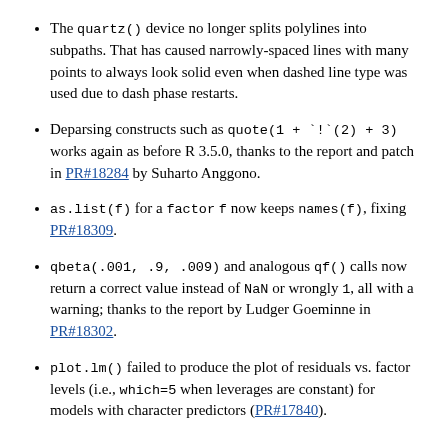The quartz() device no longer splits polylines into subpaths. That has caused narrowly-spaced lines with many points to always look solid even when dashed line type was used due to dash phase restarts.
Deparsing constructs such as quote(1 + `!`(2) + 3) works again as before R 3.5.0, thanks to the report and patch in PR#18284 by Suharto Anggono.
as.list(f) for a factor f now keeps names(f), fixing PR#18309.
qbeta(.001, .9, .009) and analogous qf() calls now return a correct value instead of NaN or wrongly 1, all with a warning; thanks to the report by Ludger Goeminne in PR#18302.
plot.lm() failed to produce the plot of residuals vs. factor levels (i.e., which=5 when leverages are constant) for models with character predictors (PR#17840).